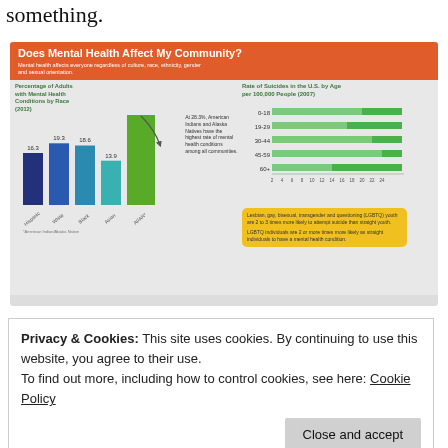something.
[Figure (infographic): Infographic titled 'Does Mental Health Affect My Community?' with subtitle 'Mental health affects everyone regardless of culture, race, ethnicity, gender and sexual orientation.' Contains a bar chart showing Percentage of Adults with Mental Health Conditions by Race (2012): Hispanic 16.3%, White 19.3%, Black 18.6%, Asian 13.9%, AI/AN 28.3%. Right side has horizontal bar chart of Rate of Suicides in the U.S. by Age per 100,000 People (2007) for age groups 0-18, 19-29, 30-44, 45-59, 60+. Yellow speech bubble notes LGBTQ statistics.]
Privacy & Cookies: This site uses cookies. By continuing to use this website, you agree to their use.
To find out more, including how to control cookies, see here: Cookie Policy
Close and accept